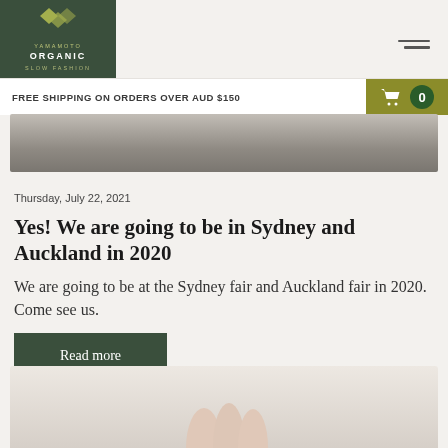YAMAMOTO ORGANIC SLOW FASHION
FREE SHIPPING ON ORDERS OVER AUD $150
[Figure (photo): Product hero image showing dark background with an object]
Thursday, July 22, 2021
Yes! We are going to be in Sydney and Auckland in 2020
We are going to be at the Sydney fair and Auckland fair in 2020. Come see us.
Read more
[Figure (photo): Bottom partial image showing hands or fabric on light background]